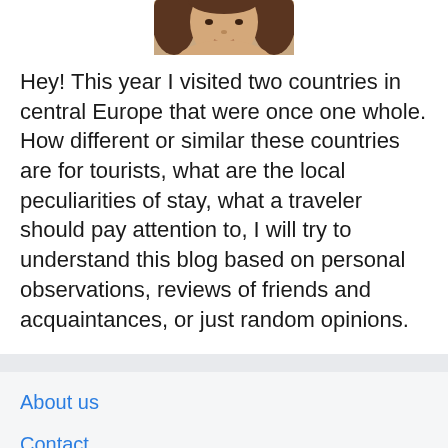[Figure (photo): Partial photo of a woman with long dark hair, cropped at the top of the page showing face and shoulders]
Hey! This year I visited two countries in central Europe that were once one whole. How different or similar these countries are for tourists, what are the local peculiarities of stay, what a traveler should pay attention to, I will try to understand this blog based on personal observations, reviews of friends and acquaintances, or just random opinions.
About us
Contact
Privacy Policy & Cookies
ATTENTION TO RIGHT HOLDERS! All